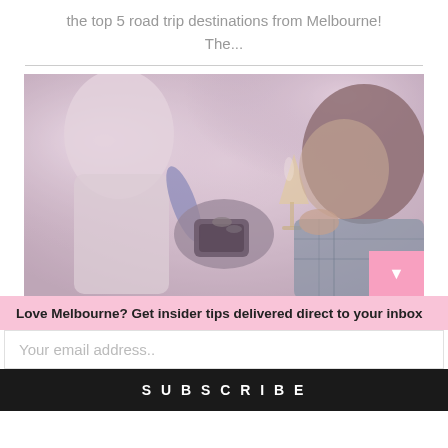the top 5 road trip destinations from Melbourne! The...
[Figure (photo): People at a social event, one person holding a champagne glass and another holding a camera or device, blurred background with warm tones]
Love Melbourne? Get insider tips delivered direct to your inbox
Your email address..
SUBSCRIBE